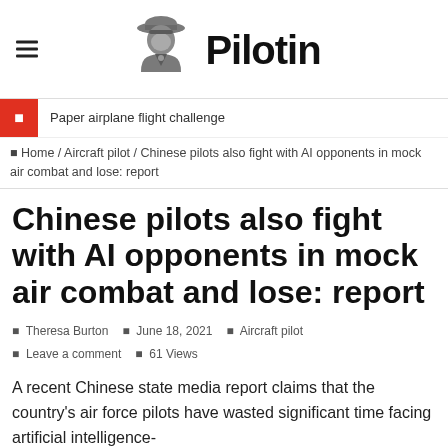Pilotin
Paper airplane flight challenge
Home / Aircraft pilot / Chinese pilots also fight with AI opponents in mock air combat and lose: report
Chinese pilots also fight with AI opponents in mock air combat and lose: report
Theresa Burton   June 18, 2021   Aircraft pilot   Leave a comment   61 Views
A recent Chinese state media report claims that the country's air force pilots have wasted significant time facing artificial intelligence-